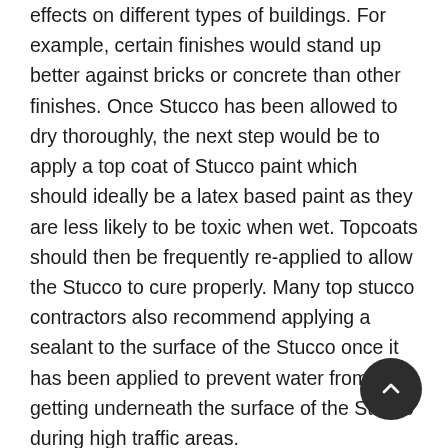effects on different types of buildings. For example, certain finishes would stand up better against bricks or concrete than other finishes. Once Stucco has been allowed to dry thoroughly, the next step would be to apply a top coat of Stucco paint which should ideally be a latex based paint as they are less likely to be toxic when wet. Topcoats should then be frequently re-applied to allow the Stucco to cure properly. Many top stucco contractors also recommend applying a sealant to the surface of the Stucco once it has been applied to prevent water from getting underneath the surface of the Stucco during high traffic areas.
Stucco finishes can either be applied directly to the building's surface, or with the use of Stucco